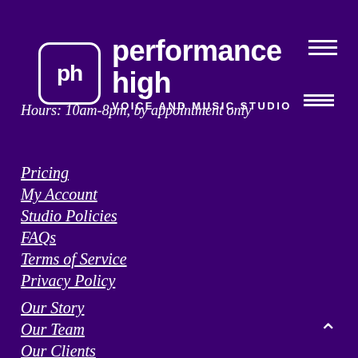[Figure (logo): Performance High Voice and Music Studio logo — white 'ph' in rounded square box next to brand name text]
Hours: 10am-8pm, by appointment only
Pricing
My Account
Studio Policies
FAQs
Terms of Service
Privacy Policy
Our Story
Our Team
Our Clients
Our Studios